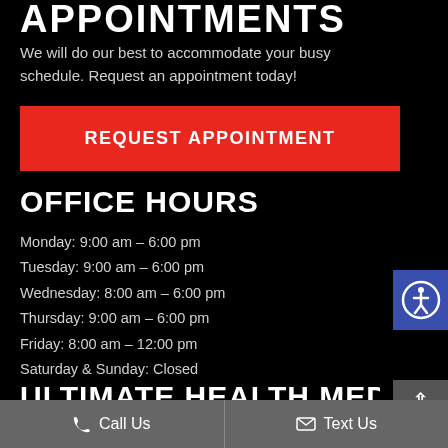APPOINTMENTS
We will do our best to accommodate your busy schedule. Request an appointment today!
REQUEST APPOINTMENT
OFFICE HOURS
Monday: 9:00 am – 6:00 pm
Tuesday: 9:00 am – 6:00 pm
Wednesday: 8:00 am – 6:00 pm
Thursday: 9:00 am – 6:00 pm
Friday: 8:00 am – 12:00 pm
Saturday & Sunday: Closed
ULTIMATE HEALTH MEDICAL
Call Us   Text Us